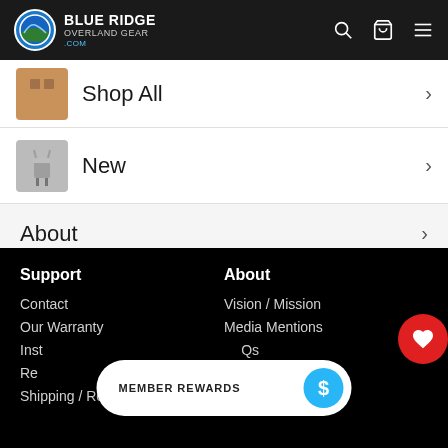Blue Ridge Overland Gear
Shop All
New
About
Blog
Support
Contact
Our Warranty
Ins...
Re...
Shipping / Returns
About
Vision / Mission
Media Mentions
...Qs
...t Us
MEMBER REWARDS